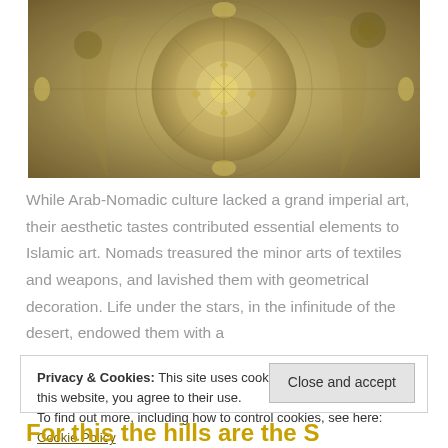[Figure (photo): Interior view looking up at an ornate mosque dome with geometric and floral patterns, arches, and hanging chandeliers. Golden/amber tones.]
While Arab-Nomadic culture lacked a grand imperial art, their aesthetic tastes contributed essential elements to Islamic art. Nomads treasured the minor arts of textiles and weapons, and lavished them with geometrical decoration. Life under the stars, in the infinitude of the desert, endowed them with a
Privacy & Cookies: This site uses cookies. By continuing to use this website, you agree to their use.
To find out more, including how to control cookies, see here: Cookie Policy
Close and accept
For this the hills are the S...